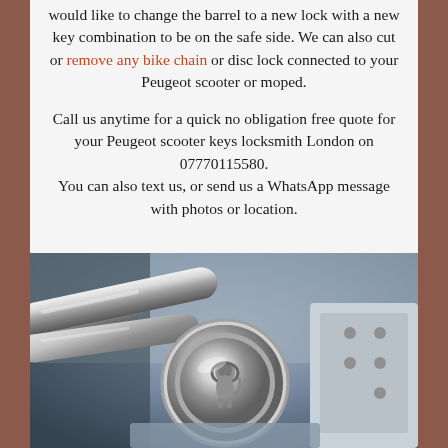would like to change the barrel to a new lock with a new key combination to be on the safe side. We can also cut or remove any bike chain or disc lock connected to your Peugeot scooter or moped.
Call us anytime for a quick no obligation free quote for your Peugeot scooter keys locksmith London on 07770115580. You can also text us, or send us a WhatsApp message with photos or location.
[Figure (photo): Close-up photo of a chrome Peugeot scooter engine/exhaust component showing the Peugeot lion logo embossed on a circular chrome cap]